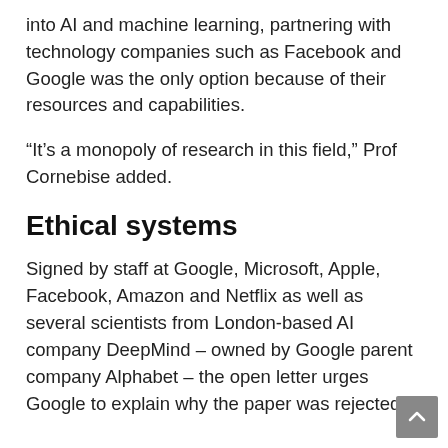into AI and machine learning, partnering with technology companies such as Facebook and Google was the only option because of their resources and capabilities.
“It’s a monopoly of research in this field,” Prof Cornebise added.
Ethical systems
Signed by staff at Google, Microsoft, Apple, Facebook, Amazon and Netflix as well as several scientists from London-based AI company DeepMind – owned by Google parent company Alphabet – the open letter urges Google to explain why the paper was rejected.